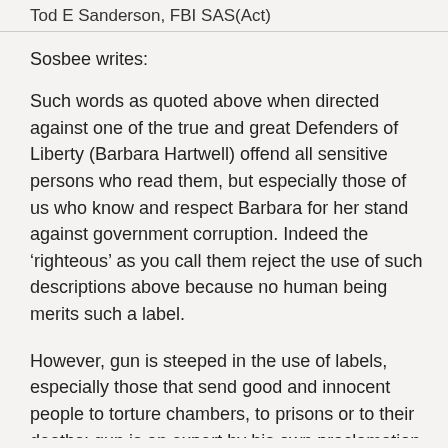Tod E Sanderson, FBI SAS(Act)
Sosbee writes:
Such words as quoted above when directed against one of the true and great Defenders of Liberty (Barbara Hartwell) offend all sensitive persons who read them, but especially those of us who know and respect Barbara for her stand against government corruption. Indeed the ‘righteous’ as you call them reject the use of such descriptions above because no human being merits such a label.
However, gun is steeped in the use of labels, especially those that send good and innocent people to torture chambers, to prisons or to their deaths; gun is an expert by his own proclamation of his credentials (i.e.:SAC) in a) black operations, b) mind games, c) secret agent-provocateur dirty deeds worldwide.
However, you suppose That suppose is Barbara Hartwell also d